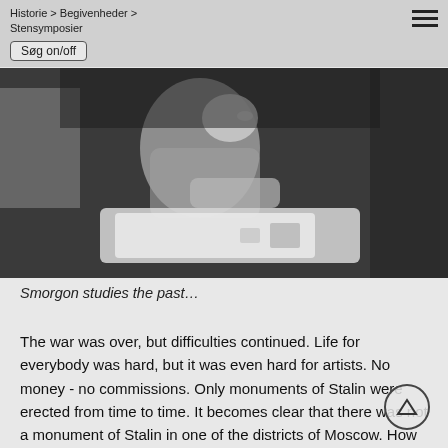Historie > Begivenheder > Stensymposier
Søg on/off
[Figure (photo): Black and white photo of a person (Smorgon) leaning over a table examining or studying books/papers]
Smorgon studies the past…
The war was over, but difficulties continued. Life for everybody was hard, but it was even hard for artists. No money - no commissions. Only monuments of Stalin were erected from time to time. It becomes clear that there was not a monument of Stalin in one of the districts of Moscow. How can